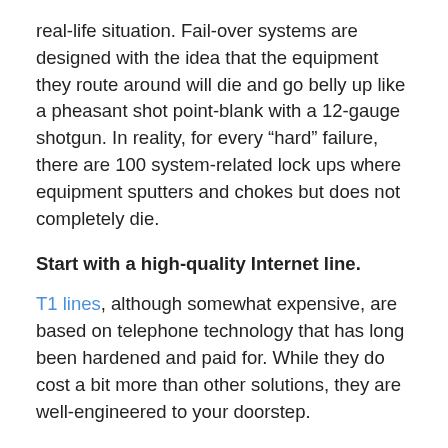real-life situation. Fail-over systems are designed with the idea that the equipment they route around will die and go belly up like a pheasant shot point-blank with a 12-gauge shotgun. In reality, for every “hard” failure, there are 100 system-related lock ups where equipment sputters and chokes but does not completely die.
Start with a high-quality Internet line.
T1 lines, although somewhat expensive, are based on telephone technology that has long been hardened and paid for. While they do cost a bit more than other solutions, they are well-engineered to your doorstep.
Make sure all your devices have good UPS sources and surge protectors.
Consider this when purchasing redundant equipment,